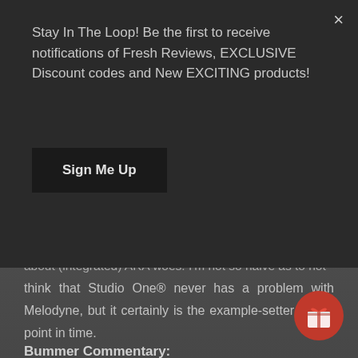Stay In The Loop! Be the first to receive notifications of Fresh Reviews, EXCLUSIVE Discount codes and New EXCITING products!
Sign Me Up
about (integrated) ARA woes. I'm not so naive as to not think that Studio One® never has a problem with Melodyne, but it certainly is the example-setter to this point in time.
Bummer Commentary:
Honestly, there really isn't much that I feel the need to negatively comment on, concerning Studio One 3 Professional. Overall, I've come to really like it's app to most nearly everything related to audio production